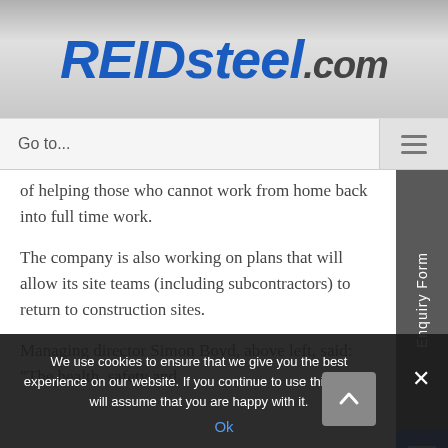REIDsteel.com
Go to...
of helping those who cannot work from home back into full time work.
The company is also working on plans that will allow its site teams (including subcontractors) to return to construction sites.
Managing director Simon Boyd, above left, said: “The health, safety and
We use cookies to ensure that we give you the best experience on our website. If you continue to use this site we will assume that you are happy with it.
Ok